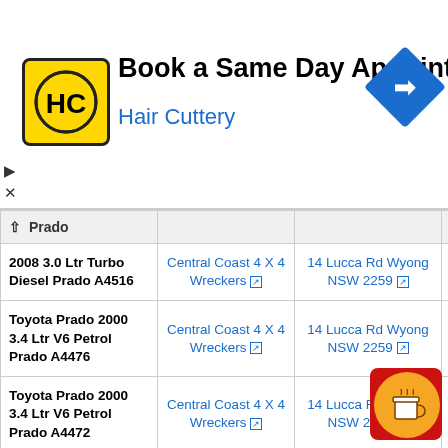[Figure (infographic): Hair Cuttery ad banner: yellow/black HC logo, 'Book a Same Day Appointment' heading, 'Hair Cuttery' subtext in blue, blue diamond navigation icon on right]
| Model | Supplier | Address | Phone |
| --- | --- | --- | --- |
| 2008 3.0 Ltr Turbo Diesel Prado A4516 | Central Coast 4 X 4 Wreckers ↗ | 14 Lucca Rd Wyong NSW 2259 ↗ | (02) 4352 2443 |
| Toyota Prado 2000 3.4 Ltr V6 Petrol Prado A4476 | Central Coast 4 X 4 Wreckers ↗ | 14 Lucca Rd Wyong NSW 2259 ↗ | (02) 4352 2443 |
| Toyota Prado 2000 3.4 Ltr V6 Petrol Prado A4472 | Central Coast 4 X 4 Wreckers ↗ | 14 Lucca Rd Wyong NSW 2259 ↗ | (02) 4352 2443 |
| Toyota Prado 1997 3.4 Ltr V6 Petrol Prado ... | Central Coast 4 X 4 Wreckers ↗ | 14 Lucca Rd Wyong NSW ... | (02) 4352 ... |